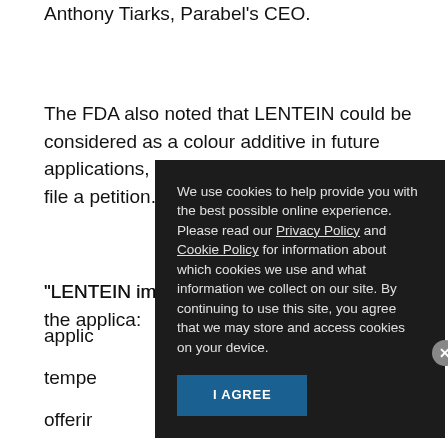Anthony Tiarks, Parabel's CEO.
The FDA also noted that LENTEIN could be considered as a colour additive in future applications, which requires the company to file a petition.
"LENTEIN imparts a vibrant green colour to the applications... temperature... we are offering... also an ingredient... s," Tiarks...
Parabel... d against... d safety... sed by the Gl... s consid... ment.
We use cookies to help provide you with the best possible online experience. Please read our Privacy Policy and Cookie Policy for information about which cookies we use and what information we collect on our site. By continuing to use this site, you agree that we may store and access cookies on your device.
I AGREE